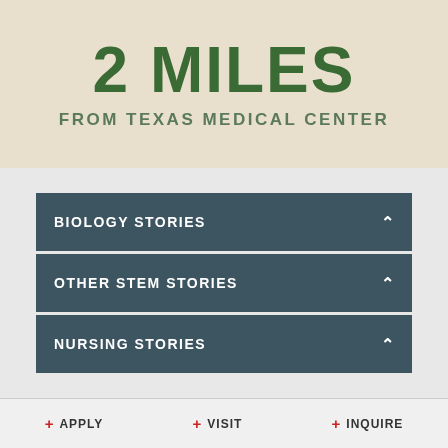2 MILES
FROM TEXAS MEDICAL CENTER
BIOLOGY STORIES
OTHER STEM STORIES
NURSING STORIES
+ APPLY  + VISIT  + INQUIRE